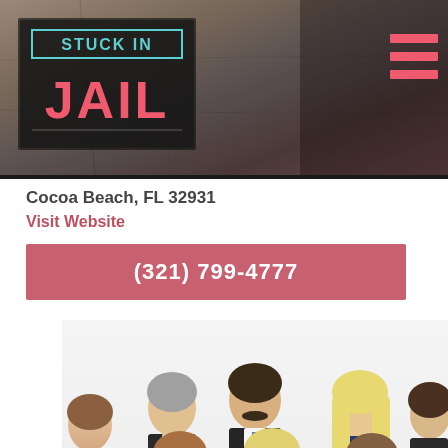[Figure (logo): Stuck In Jail logo with teal STUCK IN text and pink JAIL text on dark background with stone wall texture]
Cocoa Beach, FL 32931
Visit Website
(321) 799-4777
[Figure (photo): Group photo of approximately 8-9 legal professionals in business attire posing together against a white background]